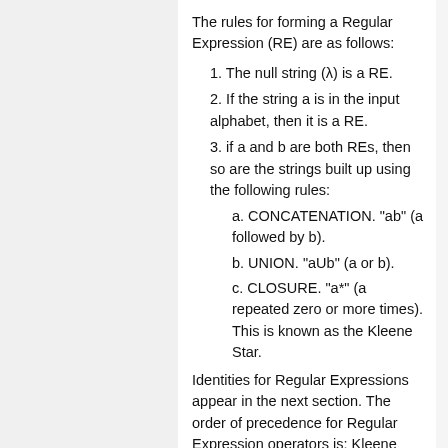The rules for forming a Regular Expression (RE) are as follows:
1. The null string (λ) is a RE.
2. If the string a is in the input alphabet, then it is a RE.
3. if a and b are both REs, then so are the strings built up using the following rules:
a. CONCATENATION. "ab" (a followed by b).
b. UNION. "aUb" (a or b).
c. CLOSURE. "a*" (a repeated zero or more times). This is known as the Kleene Star.
Identities for Regular Expressions appear in the next section. The order of precedence for Regular Expression operators is: Kleene Star, concatenation, and then union.